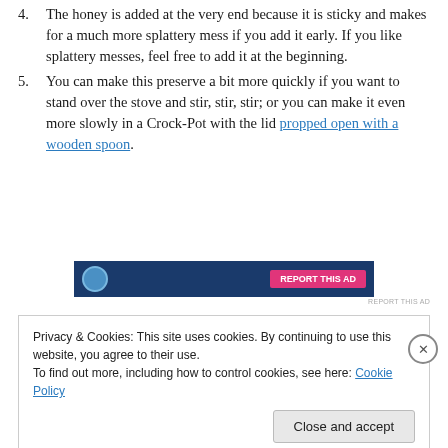4. The honey is added at the very end because it is sticky and makes for a much more splattery mess if you add it early. If you like splattery messes, feel free to add it at the beginning.
5. You can make this preserve a bit more quickly if you want to stand over the stove and stir, stir, stir; or you can make it even more slowly in a Crock-Pot with the lid propped open with a wooden spoon.
[Figure (other): Advertisement banner with dark blue background, circular logo on the left, and a pink/magenta button on the right.]
Privacy & Cookies: This site uses cookies. By continuing to use this website, you agree to their use.
To find out more, including how to control cookies, see here: Cookie Policy